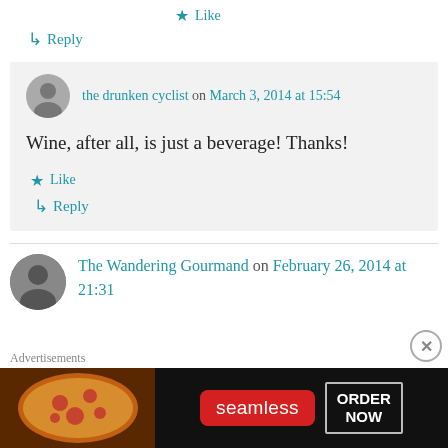★ Like
↳ Reply
the drunken cyclist on March 3, 2014 at 15:54
Wine, after all, is just a beverage! Thanks!
★ Like
↳ Reply
The Wandering Gourmand on February 26, 2014 at 21:31
Advertisements
[Figure (other): Seamless food delivery advertisement banner with pizza image on the left, Seamless logo in red, and ORDER NOW button on the right]